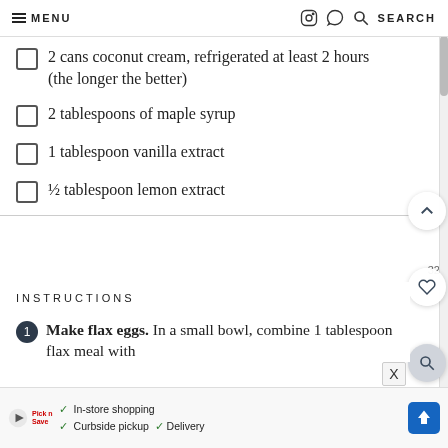MENU  SEARCH
2 cans coconut cream, refrigerated at least 2 hours (the longer the better)
2 tablespoons of maple syrup
1 tablespoon vanilla extract
½ tablespoon lemon extract
INSTRUCTIONS
Make flax eggs. In a small bowl, combine 1 tablespoon flax meal with